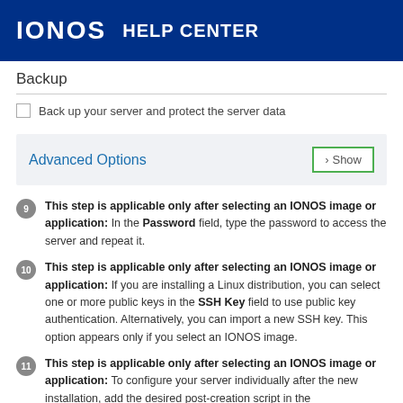IONOS HELP CENTER
Backup
Back up your server and protect the server data
Advanced Options › Show
This step is applicable only after selecting an IONOS image or application: In the Password field, type the password to access the server and repeat it.
This step is applicable only after selecting an IONOS image or application: If you are installing a Linux distribution, you can select one or more public keys in the SSH Key field to use public key authentication. Alternatively, you can import a new SSH key. This option appears only if you select an IONOS image.
This step is applicable only after selecting an IONOS image or application: To configure your server individually after the new installation, add the desired post-creation script in the